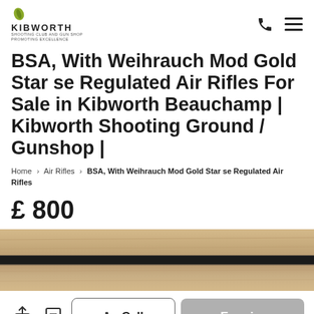KIBWORTH SHOOTING CLUB AND GUN SHOP - PROMOTING EXCELLENCE
BSA, With Weihrauch Mod Gold Star se Regulated Air Rifles For Sale in Kibworth Beauchamp | Kibworth Shooting Ground / Gunshop |
Home > Air Rifles > BSA, With Weihrauch Mod Gold Star se Regulated Air Rifles
£ 800
[Figure (photo): Product image showing a wooden surface with a dark rifle barrel/stock running horizontally across it]
Call | Enquiry